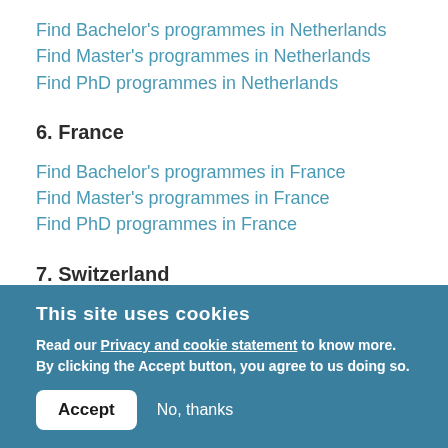Find Bachelor's programmes in Netherlands
Find Master's programmes in Netherlands
Find PhD programmes in Netherlands
6. France
Find Bachelor's programmes in France
Find Master's programmes in France
Find PhD programmes in France
7. Switzerland
This site uses cookies
Read our Privacy and cookie statement to know more. By clicking the Accept button, you agree to us doing so.
Accept   No, thanks